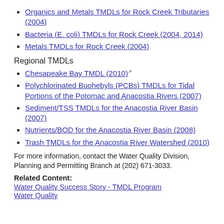Organics and Metals TMDLs for Rock Creek Tributaries (2004)
Bacteria (E. coli) TMDLs for Rock Creek (2004, 2014)
Metals TMDLs for Rock Creek (2004)
Regional TMDLs
Chesapeake Bay TMDL (2010)
Polychlorinated Buohebyls (PCBs) TMDLs for Tidal Portions of the Potomac and Anacostia Rivers (2007)
Sediment/TSS TMDLs for the Anacostia River Basin (2007)
Nutrients/BOD for the Anacostia River Basin (2008)
Trash TMDLs for the Anacostia River Watershed (2010)
For more information, contact the Water Quality Division, Planning and Permitting Branch at (202) 671-3033.
Related Content:
Water Quality Success Story - TMDL Program
Water Quality